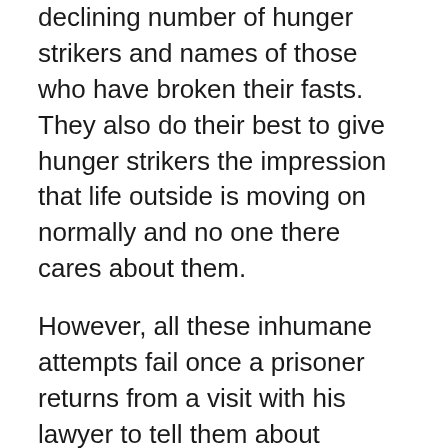declining number of hunger strikers and names of those who have broken their fasts. They also do their best to give hunger strikers the impression that life outside is moving on normally and no one there cares about them.
However, all these inhumane attempts fail once a prisoner returns from a visit with his lawyer to tell them about popular events held locally and internationally to support them and their just cause. So don't ever underestimate any activity you do, as they have small, smuggled radios with which they follow the news. Even children's protests increase their inner determination to achieve their aims, as they feel that their responsibilities have broadened to include children, the future generation, which have spiritually joined their battle.
We have faith in your ability to win and we are with you until victory!